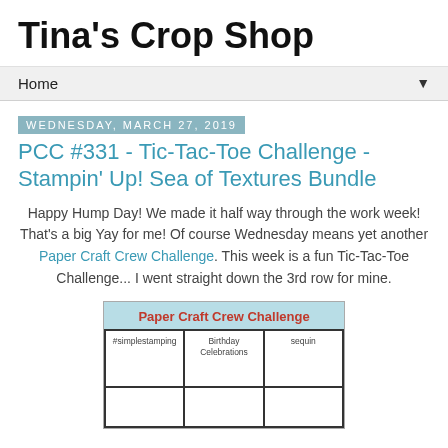Tina's Crop Shop
Home ▼
Wednesday, March 27, 2019
PCC #331 - Tic-Tac-Toe Challenge - Stampin' Up! Sea of Textures Bundle
Happy Hump Day!  We made it half way through the work week!  That's a big Yay for me!  Of course Wednesday means yet another Paper Craft Crew Challenge.  This week is a fun Tic-Tac-Toe Challenge... I went straight down the 3rd row for mine.
[Figure (other): Paper Craft Crew Challenge tic-tac-toe grid with #simplestamping, Birthday Celebrations, and sequin labels visible in top row]